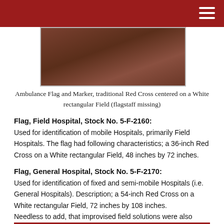[Figure (photo): Ambulance flag and marker photograph showing a dark brown/reddish cloth flag with Red Cross markings, flagstaff missing]
Ambulance Flag and Marker, traditional Red Cross centered on a White rectangular Field (flagstaff missing)
Flag, Field Hospital, Stock No. 5-F-2160:
Used for identification of mobile Hospitals, primarily Field Hospitals. The flag had following characteristics; a 36-inch Red Cross on a White rectangular Field, 48 inches by 72 inches.
Flag, General Hospital, Stock No. 5-F-2170:
Used for identification of fixed and semi-mobile Hospitals (i.e. General Hospitals). Description; a 54-inch Red Cross on a White rectangular Field, 72 inches by 108 inches. Needless to add, that improvised field solutions were also used, such as locally-made Flags.